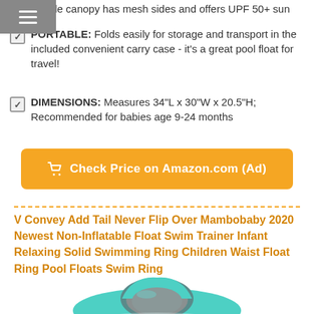Removable canopy has mesh sides and offers UPF 50+ sun protection
PORTABLE: Folds easily for storage and transport in the included convenient carry case - it's a great pool float for travel!
DIMENSIONS: Measures 34"L x 30"W x 20.5"H; Recommended for babies age 9-24 months
Check Price on Amazon.com (Ad)
V Convey Add Tail Never Flip Over Mambobaby 2020 Newest Non-Inflatable Float Swim Trainer Infant Relaxing Solid Swimming Ring Children Waist Float Ring Pool Floats Swim Ring
[Figure (photo): Teal and grey non-inflatable baby swim float ring product image]